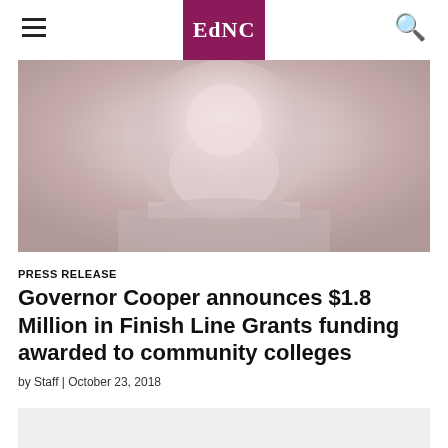EdNC
[Figure (photo): Close-up photo of a person (Governor Cooper) smiling, wearing a suit and tie, faded/light tones]
PRESS RELEASE
Governor Cooper announces $1.8 Million in Finish Line Grants funding awarded to community colleges
by Staff | October 23, 2018